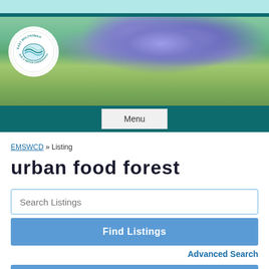[Figure (photo): East Multnomah Soil & Water Conservation District website header banner showing purple flowering plants and trees with the organization logo circle on the left]
Menu
EMSWCD » Listing
urban food forest
Search Listings
Find Listings
Advanced Search
Directory
View All Listings